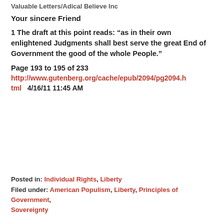Valuable Letters/Adical Believe Inc
Your sincere Friend
1 The draft at this point reads: “as in their own enlightened Judgments shall best serve the great End of Government the good of the whole People.”
Page 193 to 195 of 233
http://www.gutenberg.org/cache/epub/2094/pg2094.html   4/16/11 11:45 AM
Posted in: Individual Rights, Liberty
Filed under: American Populism, Liberty, Principles of Government, Sovereignty